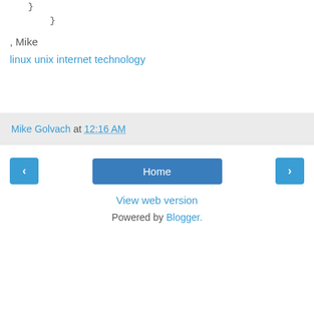}
, Mike
linux unix internet technology
Mike Golvach at 12:16 AM
< Home >
View web version
Powered by Blogger.